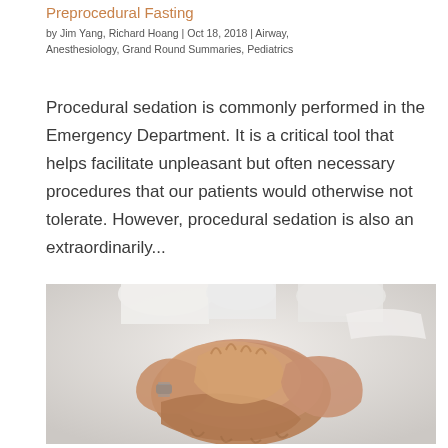Preprocedural Fasting
by Jim Yang, Richard Hoang | Oct 18, 2018 | Airway, Anesthesiology, Grand Round Summaries, Pediatrics
Procedural sedation is commonly performed in the Emergency Department. It is a critical tool that helps facilitate unpleasant but often necessary procedures that our patients would otherwise not tolerate. However, procedural sedation is also an extraordinarily...
[Figure (photo): Multiple people stacking their hands together in a teamwork gesture, photographed from above against a light grey background.]